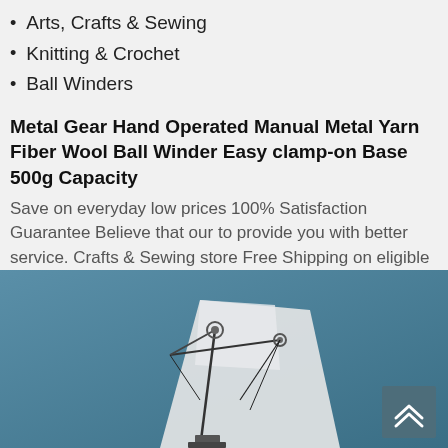Arts, Crafts & Sewing
Knitting & Crochet
Ball Winders
Metal Gear Hand Operated Manual Metal Yarn Fiber Wool Ball Winder Easy clamp-on Base 500g Capacity
Save on everyday low prices 100% Satisfaction Guarantee Believe that our to provide you with better service. Crafts & Sewing store Free Shipping on eligible items Shop YUNRUS at the Arts
[Figure (photo): Photo of a metal yarn ball winder on a teal/blue background with a cone of white yarn]